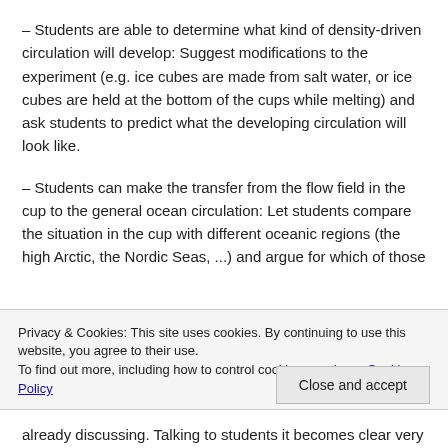– Students are able to determine what kind of density-driven circulation will develop: Suggest modifications to the experiment (e.g. ice cubes are made from salt water, or ice cubes are held at the bottom of the cups while melting) and ask students to predict what the developing circulation will look like.
– Students can make the transfer from the flow field in the cup to the general ocean circulation: Let students compare the situation in the cup with different oceanic regions (the high Arctic, the Nordic Seas, ...) and argue for which of those
Privacy & Cookies: This site uses cookies. By continuing to use this website, you agree to their use. To find out more, including how to control cookies, see here: Cookie Policy
Close and accept
already discussing. Talking to students it becomes clear very